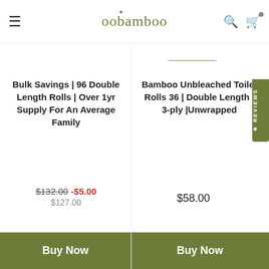oobamboo
Bulk Savings | 96 Double Length Rolls | Over 1yr Supply For An Average Family
$132.00 -$5.00 $127.00
Buy Now
Bamboo Unbleached Toilet Rolls 36 | Double Length | 3-ply |Unwrapped
$58.00
Buy Now